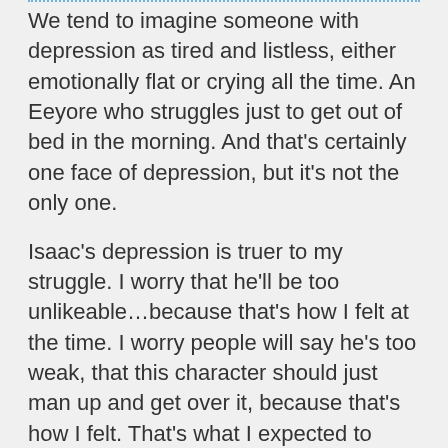We tend to imagine someone with depression as tired and listless, either emotionally flat or crying all the time. An Eeyore who struggles just to get out of bed in the morning. And that's certainly one face of depression, but it's not the only one.
Isaac's depression is truer to my struggle. I worry that he'll be too unlikeable…because that's how I felt at the time. I worry people will say he's too weak, that this character should just man up and get over it, because that's how I felt. That's what I expected to hear if I talked about it. I worry about readers who don't understand that depression isn't something you just snap out of.
Shame is a big piece of it. Depression feels like failure. The brain-weasels of despair crawl into your skull and whisper that it's all your fault, that you're not good enough, and that nothing you do will make it any better.